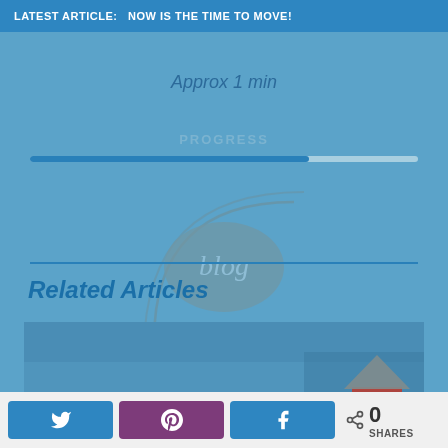LATEST ARTICLE:  NOW IS THE TIME TO MOVE!
Approx 1 min
PROGRESS
[Figure (other): Progress bar showing approximately 72% completion]
[Figure (illustration): Decorative blog watermark/logo overlay — circular design with the word 'blog']
Related Articles
[Figure (photo): Blue-toned photo of a house exterior with a small house/home icon in the lower right corner]
Share buttons: Twitter, Pinterest, Facebook; 0 SHARES